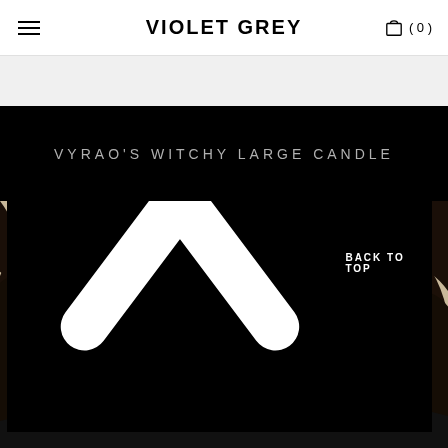VIOLET GREY
[Figure (photo): Partial product image strip at top, light grey background]
VYRAO'S WITCHY LARGE CANDLE
[Figure (photo): A woman with voluminous dark curly hair, wearing gold snake earrings and a snake ring, holding her hand near her face, wearing a black jacket, against a light beige background]
BACK TO TOP